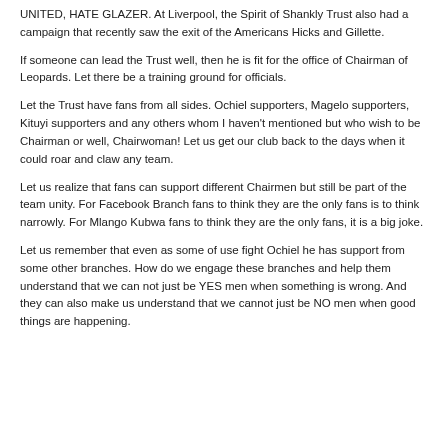UNITED, HATE GLAZER. At Liverpool, the Spirit of Shankly Trust also had a campaign that recently saw the exit of the Americans Hicks and Gillette.
If someone can lead the Trust well, then he is fit for the office of Chairman of Leopards. Let there be a training ground for officials.
Let the Trust have fans from all sides. Ochiel supporters, Magelo supporters, Kituyi supporters and any others whom I haven't mentioned but who wish to be Chairman or well, Chairwoman! Let us get our club back to the days when it could roar and claw any team.
Let us realize that fans can support different Chairmen but still be part of the team unity. For Facebook Branch fans to think they are the only fans is to think narrowly. For Mlango Kubwa fans to think they are the only fans, it is a big joke.
Let us remember that even as some of use fight Ochiel he has support from some other branches. How do we engage these branches and help them understand that we can not just be YES men when something is wrong. And they can also make us understand that we cannot just be NO men when good things are happening.